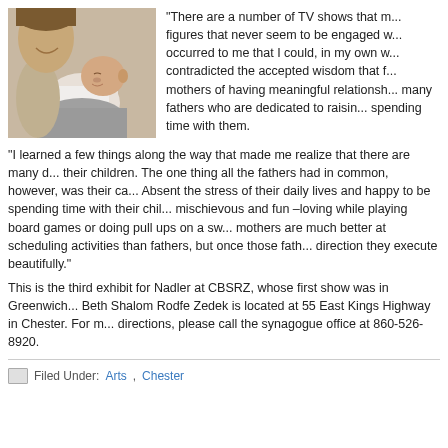[Figure (photo): A person holding a sleeping baby wrapped in a gray cloth]
“There are a number of TV shows that never seem to be engaged w... occurred to me that I could, in my own w... contradicted the accepted wisdom that f... mothers of having meaningful relationships... many fathers who are dedicated to raising... spending time with them.
“I learned a few things along the way that made me realize that there are many d... their children. The one thing all the fathers had in common, however, was their ca... Absent the stress of their daily lives and happy to be spending time with their chil... mischievous and fun –loving while playing board games or doing pull ups on a sw... mothers are much better at scheduling activities than fathers, but once those fath... direction they execute beautifully.”
This is the third exhibit for Nadler at CBSRZ, whose first show was in Greenwich... Beth Shalom Rodfe Zedek is located at 55 East Kings Highway in Chester. For m... directions, please call the synagogue office at 860-526-8920.
Filed Under: Arts, Chester